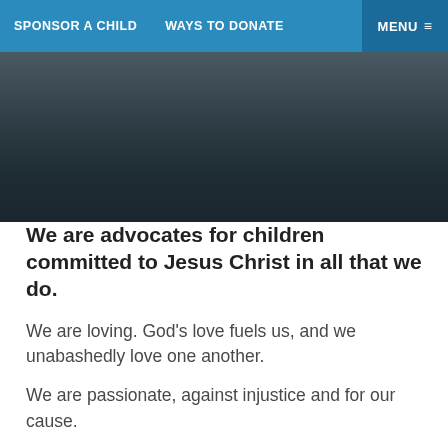SPONSOR A CHILD   WAYS TO DONATE   MENU
[Figure (photo): Dark image of a child, partially visible, with dark background]
We are advocates for children committed to Jesus Christ in all that we do.
We are loving. God's love fuels us, and we unabashedly love one another.
We are passionate, against injustice and for our cause.
Compassion is authentic, facing hard realities with an adventuresome spirit.
We are totally focused on our our mission. Single-minded in our pursuit.
Our ministry is contextual, customized and